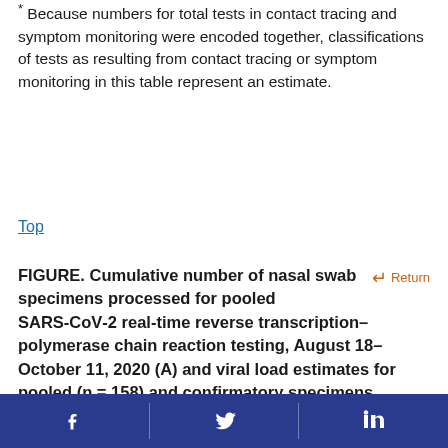* Because numbers for total tests in contact tracing and symptom monitoring were encoded together, classifications of tests as resulting from contact tracing or symptom monitoring in this table represent an estimate.
Top
FIGURE. Cumulative number of nasal swab specimens processed for pooled SARS-CoV-2 real-time reverse transcription–polymerase chain reaction testing, August 18–October 11, 2020 (A) and viral load estimates for pooled (n = 158) and confirmatory specimens (n = 30), August–October 2020 (B)* — Duke University, Durham, North Carolina
Facebook Twitter LinkedIn